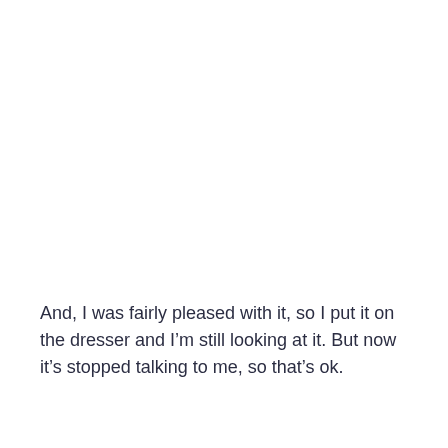And, I was fairly pleased with it, so I put it on the dresser and I'm still looking at it. But now it's stopped talking to me, so that's ok.